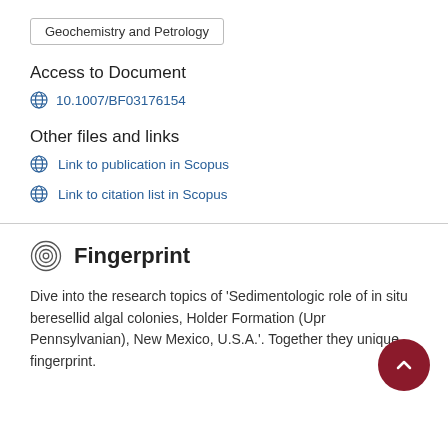Geochemistry and Petrology
Access to Document
10.1007/BF03176154
Other files and links
Link to publication in Scopus
Link to citation list in Scopus
Fingerprint
Dive into the research topics of 'Sedimentologic role of in situ beresellid algal colonies, Holder Formation (Upr Pennsylvanian), New Mexico, U.S.A.'. Together they unique fingerprint.